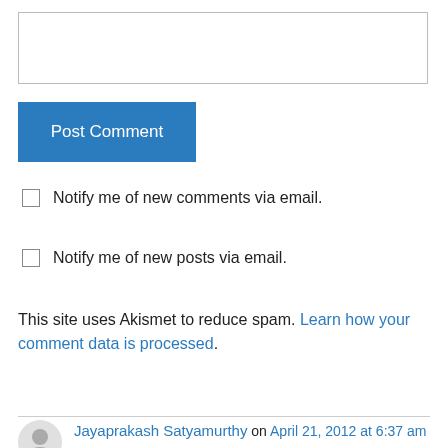[Figure (other): Text input/textarea box for comment entry]
Post Comment
Notify me of new comments via email.
Notify me of new posts via email.
This site uses Akismet to reduce spam. Learn how your comment data is processed.
Jayaprakash Satyamurthy on April 21, 2012 at 6:37 am
I really liked the noir-cyberpunk setting!
Like